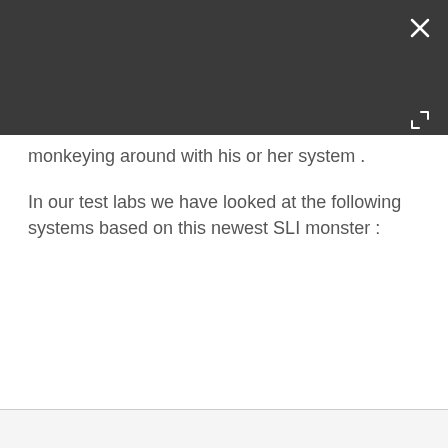[Figure (screenshot): Dark overlay UI with close (X) button and expand arrows button on the top right]
monkeying around with his or her system .
In our test labs we have looked at the following systems based on this newest SLI monster :